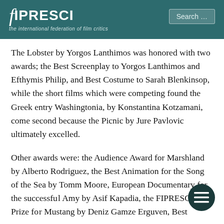FIPRESCI – the international federation of film critics
The Lobster by Yorgos Lanthimos was honored with two awards; the Best Screenplay to Yorgos Lanthimos and Efthymis Philip, and Best Costume to Sarah Blenkinsop, while the short films which were competing found the Greek entry Washingtonia, by Konstantina Kotzamani, come second because the Picnic by Jure Pavlovic ultimately excelled.
Other awards were: the Audience Award for Marshland by Alberto Rodriguez, the Best Animation for the Song of the Sea by Tomm Moore, European Documentary for the successful Amy by Asif Kapadia, the FIPRESCI Prize for Mustang by Deniz Gamze Erguven, Best